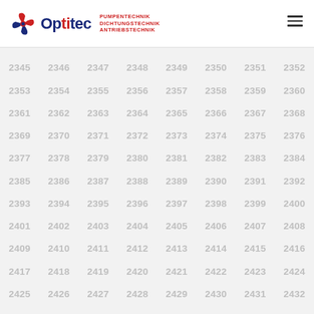[Figure (logo): Optitec logo with gear/fan icon in red/blue, company name 'Optitec' in dark blue and red, taglines: PUMPENTECHNIK, DICHTUNGSTECHNIK, ANTRIEBSTECHNIK in red]
2345 2346 2347 2348 2349 2350 2351 2352
2353 2354 2355 2356 2357 2358 2359 2360
2361 2362 2363 2364 2365 2366 2367 2368
2369 2370 2371 2372 2373 2374 2375 2376
2377 2378 2379 2380 2381 2382 2383 2384
2385 2386 2387 2388 2389 2390 2391 2392
2393 2394 2395 2396 2397 2398 2399 2400
2401 2402 2403 2404 2405 2406 2407 2408
2409 2410 2411 2412 2413 2414 2415 2416
2417 2418 2419 2420 2421 2422 2423 2424
2425 2426 2427 2428 2429 2430 2431 2432